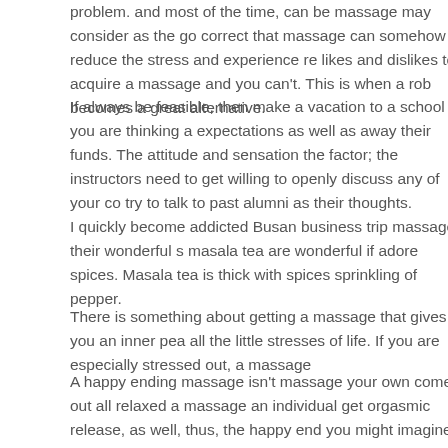problem. And most of the time, can be massage may consider as the go correct that massage can somehow reduce the stress and experience re likes and dislikes to acquire a massage and you can't. This is when a rob becomes a great alternative.
If always be feasible, then make a vacation to a school you are thinking a expectations as well as away their funds. The attitude and sensation the factor; the instructors need to get willing to openly discuss any of your co try to talk to past alumni as their thoughts.
I quickly become addicted Busan business trip massage their wonderful s masala tea are wonderful if adore spices. Masala tea is thick with spices sprinkling of pepper.
There is something about getting a massage that gives you an inner pea all the little stresses of life. If you are especially stressed out, a massage
A happy ending massage isn't massage your own come out all relaxed a massage an individual get orgasmic release, as well, thus, the happy end you might imagine to get and place in a happy ending trip massage. Simp pleasure points exactly what makes them writhe in pleasure one of the m this therapeutic.